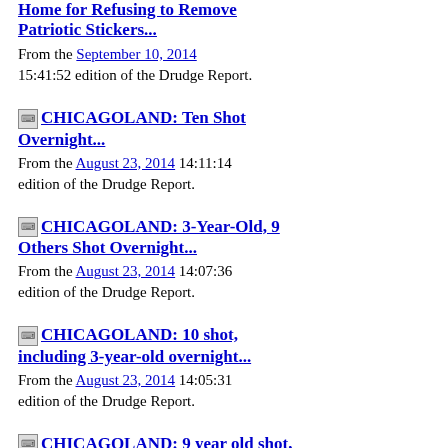Home for Refusing to Remove Patriotic Stickers...
From the September 10, 2014 15:41:52 edition of the Drudge Report.
CHICAGOLAND: Ten Shot Overnight...
From the August 23, 2014 14:11:14 edition of the Drudge Report.
CHICAGOLAND: 3-Year-Old, 9 Others Shot Overnight...
From the August 23, 2014 14:07:36 edition of the Drudge Report.
CHICAGOLAND: 10 shot, including 3-year-old overnight...
From the August 23, 2014 14:05:31 edition of the Drudge Report.
CHICAGOLAND: 9 year old shot, killed...
From the August 21, 2014 02:48:32 edition of the Drudge Report.